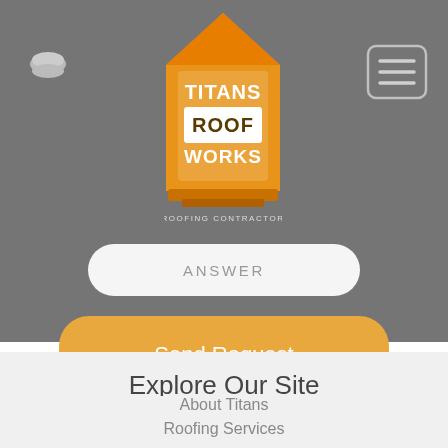[Figure (logo): Titans Roof Works logo — orange house shape with white text reading TITANS ROOF WORKS]
ANSWER
Send Request
Explore Our Site
About Titans
Roofing Services